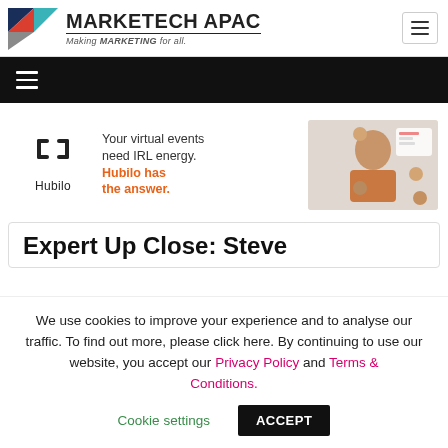MARKETECH APAC — Making MARKETING for all.
[Figure (screenshot): Hubilo advertisement banner: Hubilo logo on left, text 'Your virtual events need IRL energy. Hubilo has the answer.' in center, woman with virtual meeting UI on right]
Expert Up Close: Steve
We use cookies to improve your experience and to analyse our traffic. To find out more, please click here. By continuing to use our website, you accept our Privacy Policy and Terms & Conditions.
Cookie settings   ACCEPT